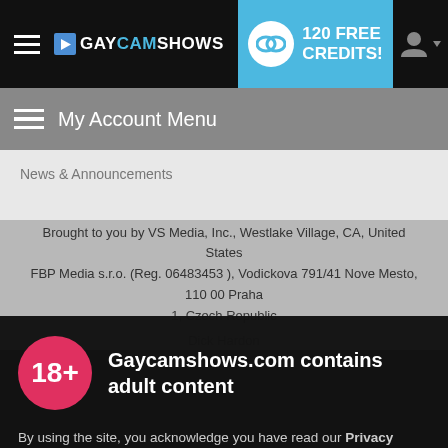GAYCAMSHOWS | 120 FREE CREDITS!
My Account Menu
News & Announcements
Brought to you by VS Media, Inc., Westlake Village, CA, United States FBP Media s.r.o. (Reg. 06483453 ), Vodickova 791/41 Nove Mesto, 110 00 Praha 1, Czech Republic
Dick Hardon
[Figure (infographic): 18+ age gate badge — red circle with white 18+ text]
Gaycamshows.com contains adult content
By using the site, you acknowledge you have read our Privacy Policy, and agree to our Terms and Conditions.
We use cookies to optimize your experience, analyze traffic, and deliver more personalized service. To learn more, please see our Privacy Policy.
I AGREE